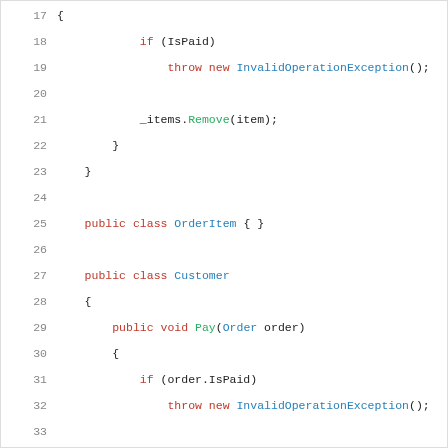Code snippet showing C# classes OrderItem and Customer with lines 17-37
[Figure (screenshot): C# source code listing lines 17-37 showing OrderItem and Customer classes with IsPaid checks and Pay method]